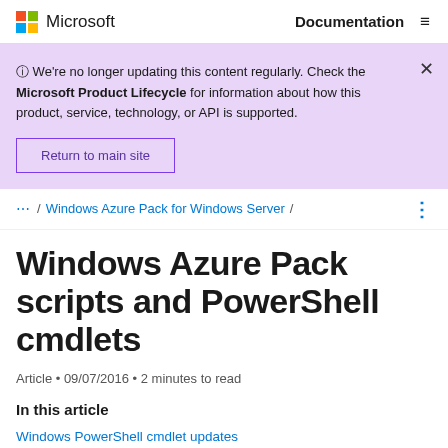Microsoft   Documentation   ≡
⊙ We're no longer updating this content regularly. Check the Microsoft Product Lifecycle for information about how this product, service, technology, or API is supported.
Return to main site
... / Windows Azure Pack for Windows Server /
Windows Azure Pack scripts and PowerShell cmdlets
Article • 09/07/2016 • 2 minutes to read
In this article
Windows PowerShell cmdlet updates